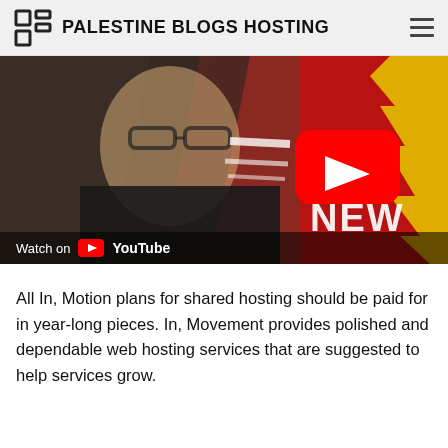PALESTINE BLOGS HOSTING
[Figure (screenshot): YouTube video thumbnail showing a man with glasses and a goatee in a black shirt on the left, with a red and black graphic background on the right showing a YouTube play button and text 'NEW'. A 'Watch on YouTube' bar appears at the bottom.]
All In, Motion plans for shared hosting should be paid for in year-long pieces. In, Movement provides polished and dependable web hosting services that are suggested to help services grow.